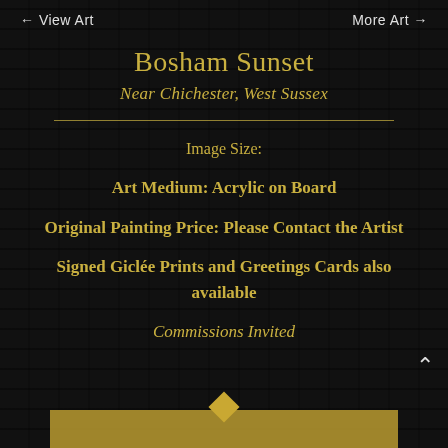← View Art    More Art →
Bosham Sunset
Near Chichester, West Sussex
Image Size:
Art Medium: Acrylic on Board
Original Painting Price: Please Contact the Artist
Signed Giclée Prints and Greetings Cards also available
Commissions Invited